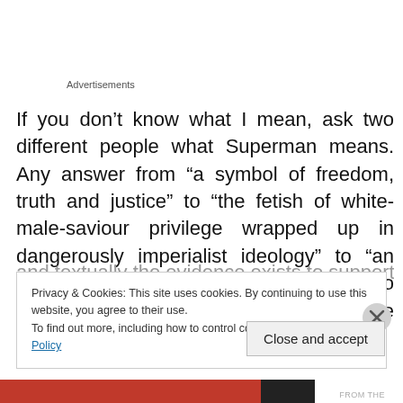Advertisements
If you don’t know what I mean, ask two different people what Superman means. Any answer from “a symbol of freedom, truth and justice” to “the fetish of white-male-saviour privilege wrapped up in dangerously imperialist ideology” to “an expression of America’s immigrant-hero story, celebrating a nation built by the other” will come up,
and textually the evidence exists to support any of them
Privacy & Cookies: This site uses cookies. By continuing to use this website, you agree to their use.
To find out more, including how to control cookies, see here: Cookie Policy
Close and accept